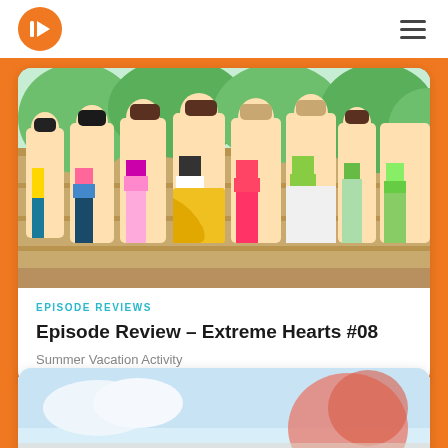Iridium Eye Reviews logo and navigation
[Figure (screenshot): Anime screenshot showing several female characters in swimsuits/beach wear standing in a row against a wooden background with tropical greenery]
EPISODE REVIEWS
Episode Review – Extreme Hearts #08
Summer Vacation Activity
[Figure (screenshot): Partial view of another anime scene with light blue sky and warm-toned character image, bottom of page]